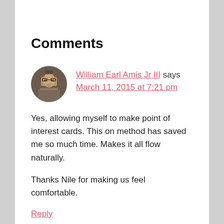Comments
[Figure (photo): Circular avatar photo of William Earl Amis Jr III, a man with glasses in a library setting]
William Earl Amis Jr III says
March 11, 2015 at 7:21 pm
Yes, allowing myself to make point of interest cards. This on method has saved me so much time. Makes it all flow naturally.

Thanks Nile for making us feel comfortable.
Reply